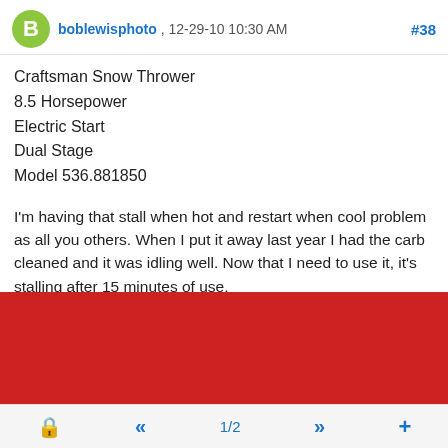boblewisphoto , 12-29-10 10:30 AM  #38
Craftsman Snow Thrower
8.5 Horsepower
Electric Start
Dual Stage
Model 536.881850
I'm having that stall when hot and restart when cool problem as all you others. When I put it away last year I had the carb cleaned and it was idling well. Now that I need to use it, it's stalling after 15 minutes of use.
I did notice a fair amount of water accumulating around the plastic key so maybe that's the problem. I'll try the gas cap and key wire. If that doesn't fix it I guess I need a coil /
[Figure (screenshot): BitLife mobile game advertisement banner with emoji icons (devil, person shrugging, angel, sperm) on red background with 'REAL CHOICES' text]
🔒  «  1/2  »  +